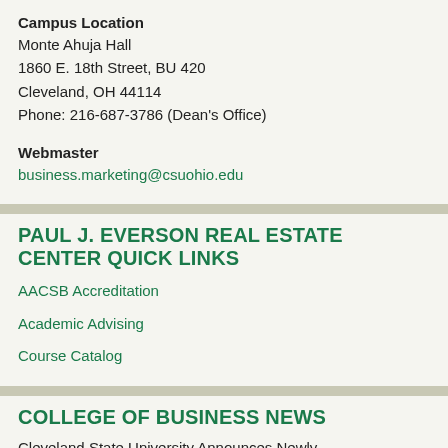Campus Location
Monte Ahuja Hall
1860 E. 18th Street, BU 420
Cleveland, OH 44114
Phone: 216-687-3786 (Dean's Office)
Webmaster
business.marketing@csuohio.edu
PAUL J. EVERSON REAL ESTATE CENTER QUICK LINKS
AACSB Accreditation
Academic Advising
Course Catalog
COLLEGE OF BUSINESS NEWS
Cleveland State University Announces Newly...
06/22/22
Future Trade Leaders Fellowship - Apply By...